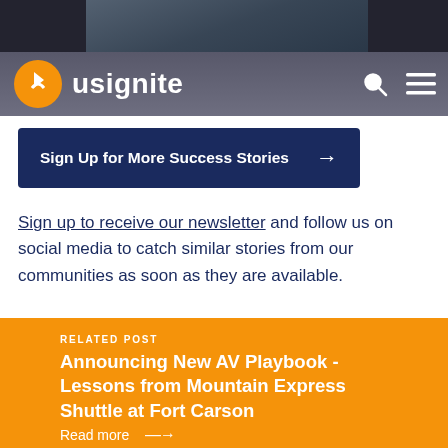[Figure (photo): Dark photo bar at top of page showing people]
usignite
Sign Up for More Success Stories →
Sign up to receive our newsletter and follow us on social media to catch similar stories from our communities as soon as they are available.
RELATED POST
Announcing New AV Playbook - Lessons from Mountain Express Shuttle at Fort Carson
Read more →